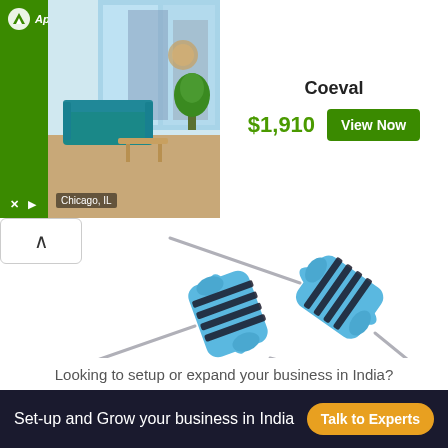[Figure (screenshot): Apartments.com advertisement banner showing a Chicago, IL apartment interior with teal sofa and city view. Shows price $1,910 and 'View Now' button for Coeval property.]
[Figure (photo): Two blue metal film resistors with dark band stripes (color bands), showing leads/wires on both ends, on white background.]
Looking to setup or expand your business in India?
Set-up and Grow your business in India
Talk to Experts